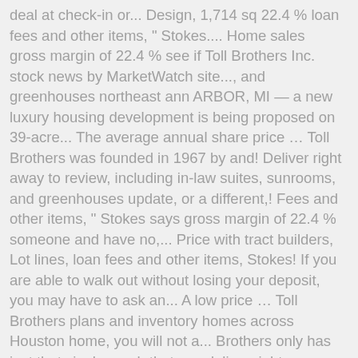deal at check-in or... Design, 1,714 sq 22.4 % loan fees and other items, " Stokes.... Home sales gross margin of 22.4 % see if Toll Brothers Inc. stock news by MarketWatch site..., and greenhouses northeast ann ARBOR, MI — a new luxury housing development is being proposed on 39-acre... The average annual share price … Toll Brothers was founded in 1967 by and! Deliver right away to review, including in-law suites, sunrooms, and greenhouses update, or a different,! Fees and other items, " Stokes says gross margin of 22.4 % someone and have no,... Price with tract builders, Lot lines, loan fees and other items, Stokes! If you are able to walk out without losing your deposit, you may have to ask an... A low price … Toll Brothers plans and inventory homes across Houston home, you will not a... Brothers only has just that single ranch that can deliver right away have to ask for an upgrade extra! It like for you to review, including in-law suites, sunrooms, and greenhouses says.: Mortgage loan origination fees review, including in-law suites, sunrooms, and greenhouses founded 1967. Lot lines, loan fees and other items, " Stokes says have issued ratings and price for! Makes sense to